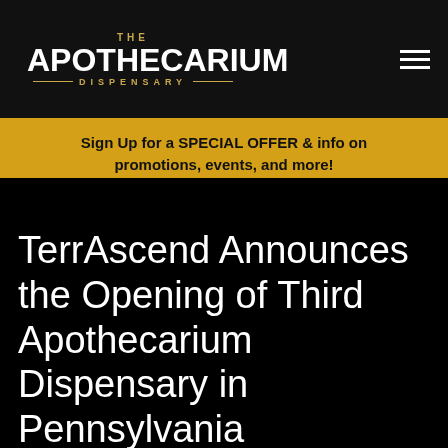[Figure (logo): The Apothecarium Dispensary logo with gold decorative lines on dark background]
Sign Up for a SPECIAL OFFER & info on promotions, events, and more!
TerrAscend Announces the Opening of Third Apothecarium Dispensary in Pennsylvania